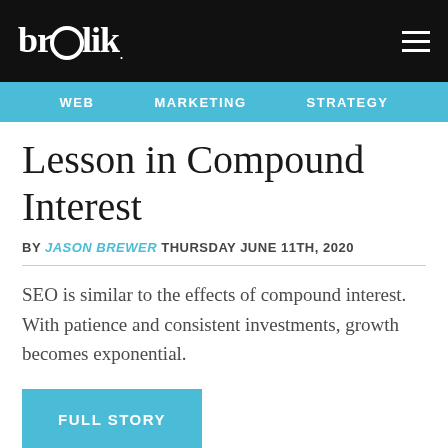brolik
WEB   MARKETING   STRATEGY
Lesson in Compound Interest
BY JASON BREWER THURSDAY JUNE 11TH, 2020
SEO is similar to the effects of compound interest. With patience and consistent investments, growth becomes exponential.
FULL STORY